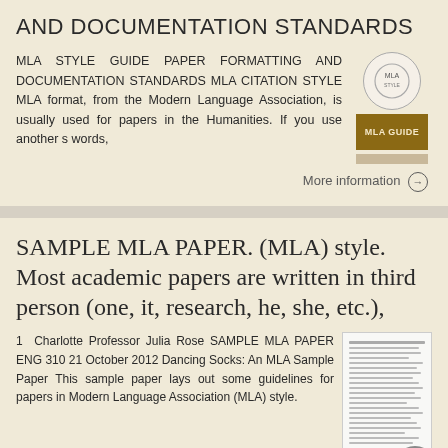AND DOCUMENTATION STANDARDS
MLA STYLE GUIDE PAPER FORMATTING AND DOCUMENTATION STANDARDS MLA CITATION STYLE MLA format, from the Modern Language Association, is usually used for papers in the Humanities. If you use another s words,
More information →
SAMPLE MLA PAPER. (MLA) style. Most academic papers are written in third person (one, it, research, he, she, etc.),
1 Charlotte Professor Julia Rose SAMPLE MLA PAPER ENG 310 21 October 2012 Dancing Socks: An MLA Sample Paper This sample paper lays out some guidelines for papers in Modern Language Association (MLA) style.
More information →